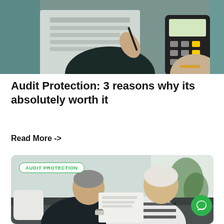[Figure (photo): Hands holding documents and a calculator, close-up shot]
Audit Protection: 3 reasons why its absolutely worth it
Read More ->
[Figure (photo): Elderly couple sitting on a sofa, smiling and reviewing documents together. Overlaid with 'AUDIT PROTECTION' badge in green.]